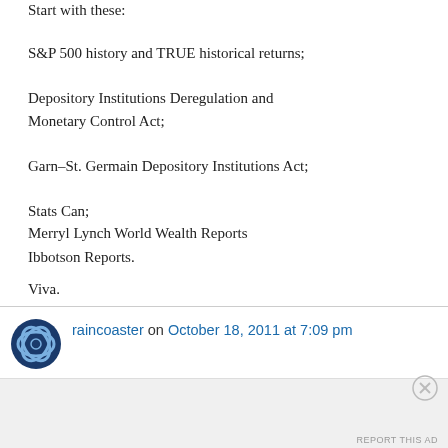Start with these:
S&P 500 history and TRUE historical returns;
Depository Institutions Deregulation and Monetary Control Act;
Garn–St. Germain Depository Institutions Act;
Stats Can;
Merryl Lynch World Wealth Reports
Ibbotson Reports.
Viva.
raincoaster on October 18, 2011 at 7:09 pm
Advertisements